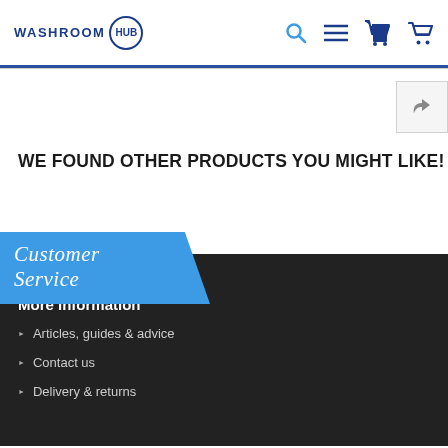WASHROOM HUB
[Figure (logo): Washroom Hub logo with circular HUB emblem, search icon, hamburger menu icon, and shopping cart icon]
WE FOUND OTHER PRODUCTS YOU MIGHT LIKE!
Customer Service
More information
Articles, guides & advice
Contact us
Delivery & returns